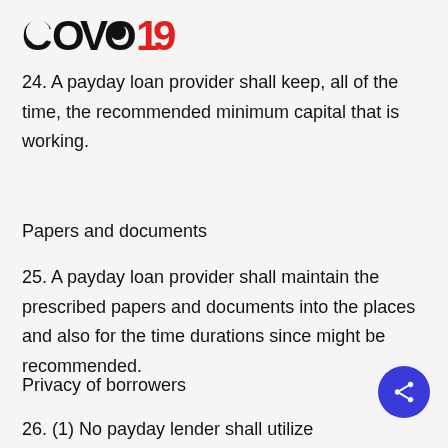COVID19
24. A payday loan provider shall keep, all of the time, the recommended minimum capital that is working.
Papers and documents
25. A payday loan provider shall maintain the prescribed papers and documents into the places and also for the time durations since might be recommended.
Privacy of borrowers
26. (1) No payday lender shall utilize